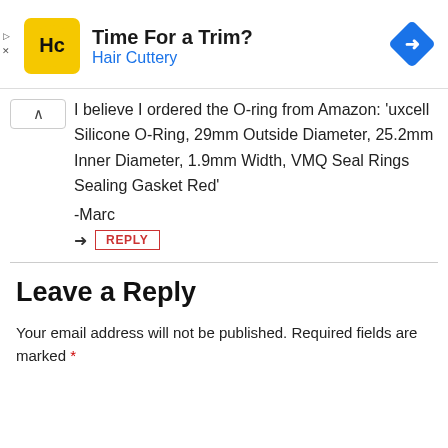[Figure (other): Hair Cuttery advertisement banner with logo, headline 'Time For a Trim?', subtext 'Hair Cuttery', and navigation icon]
I believe I ordered the O-ring from Amazon: 'uxcell Silicone O-Ring, 29mm Outside Diameter, 25.2mm Inner Diameter, 1.9mm Width, VMQ Seal Rings Sealing Gasket Red'
-Marc
REPLY
Leave a Reply
Your email address will not be published. Required fields are marked *